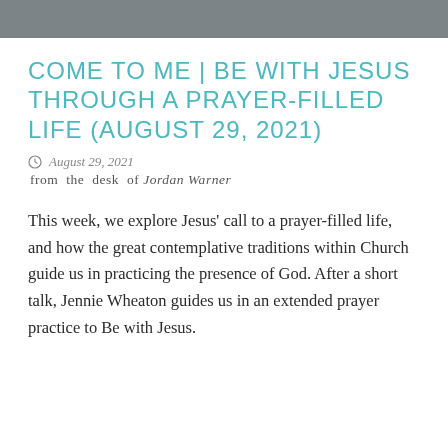COME TO ME | BE WITH JESUS THROUGH A PRAYER-FILLED LIFE (AUGUST 29, 2021)
August 29, 2021
from the desk of Jordan Warner
This week, we explore Jesus' call to a prayer-filled life, and how the great contemplative traditions within Church guide us in practicing the presence of God. After a short talk, Jennie Wheaton guides us in an extended prayer practice to Be with Jesus.